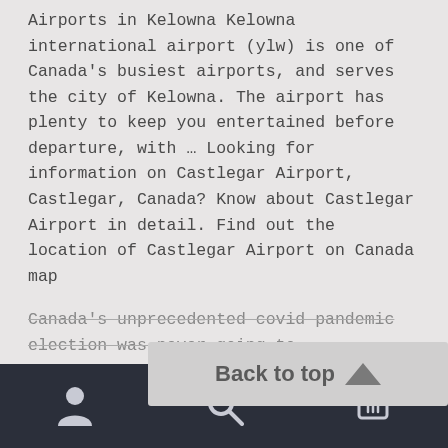Airports in Kelowna Kelowna international airport (ylw) is one of Canada's busiest airports, and serves the city of Kelowna. The airport has plenty to keep you entertained before departure, with … Looking for information on Castlegar Airport, Castlegar, Canada? Know about Castlegar Airport in detail. Find out the location of Castlegar Airport on Canada map
Canada's unprecedented covid pandemic election was never going to
[Figure (other): Back to top button overlay with upward arrow icon]
Bottom navigation bar with person icon, search icon, and cart icon with badge showing 0